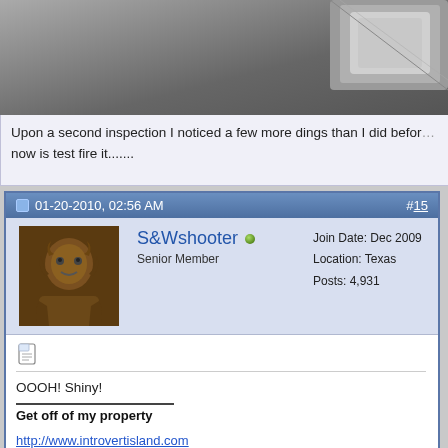[Figure (photo): Partial view of a metallic/gun surface, dark gray background with a metallic corner piece visible in upper right]
Upon a second inspection I noticed a few more dings than I did before, all I need to do now is test fire it.......
01-20-2010, 02:56 AM  #15
[Figure (photo): Forum user avatar showing a beast/creature character in dark fantasy style]
S&Wshooter  Senior Member  Join Date: Dec 2009  Location: Texas  Posts: 4,931
OOOH! Shiny!
Get off of my property
http://www.introvertisland.com